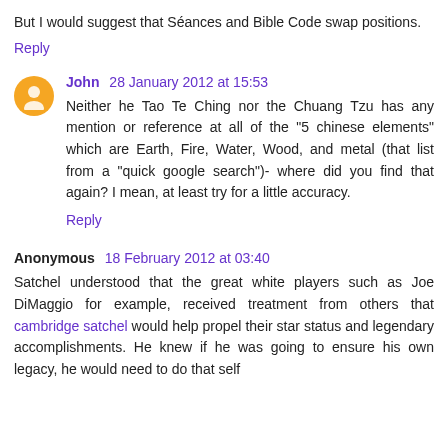But I would suggest that Séances and Bible Code swap positions.
Reply
John 28 January 2012 at 15:53
Neither he Tao Te Ching nor the Chuang Tzu has any mention or reference at all of the "5 chinese elements" which are Earth, Fire, Water, Wood, and metal (that list from a "quick google search")- where did you find that again? I mean, at least try for a little accuracy.
Reply
Anonymous 18 February 2012 at 03:40
Satchel understood that the great white players such as Joe DiMaggio for example, received treatment from others that cambridge satchel would help propel their star status and legendary accomplishments. He knew if he was going to ensure his own legacy, he would need to do that self